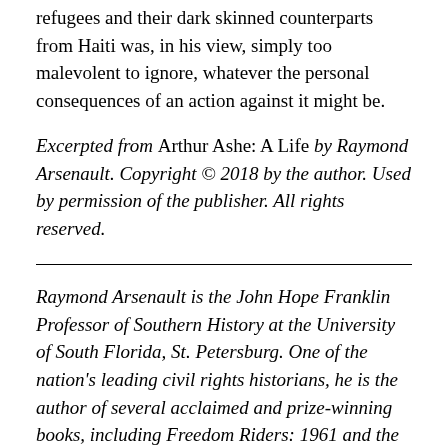refugees and their dark skinned counterparts from Haiti was, in his view, simply too malevolent to ignore, whatever the personal consequences of an action against it might be.
Excerpted from Arthur Ashe: A Life by Raymond Arsenault. Copyright © 2018 by the author. Used by permission of the publisher. All rights reserved.
Raymond Arsenault is the John Hope Franklin Professor of Southern History at the University of South Florida, St. Petersburg. One of the nation's leading civil rights historians, he is the author of several acclaimed and prize-winning books, including Freedom Riders: 1961 and the Struggle for Racial Justice and The Sound of Freedom: Marian